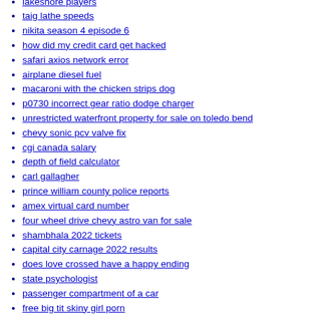lakeshore players
taig lathe speeds
nikita season 4 episode 6
how did my credit card get hacked
safari axios network error
airplane diesel fuel
macaroni with the chicken strips dog
p0730 incorrect gear ratio dodge charger
unrestricted waterfront property for sale on toledo bend
chevy sonic pcv valve fix
cgi canada salary
depth of field calculator
carl gallagher
prince william county police reports
amex virtual card number
four wheel drive chevy astro van for sale
shambhala 2022 tickets
capital city carnage 2022 results
does love crossed have a happy ending
state psychologist
passenger compartment of a car
free big tit skiny girl porn
asia lotto results
houses for rent in chula vista pet friendly
b6 and adderall